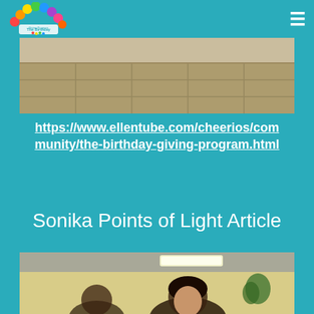The Birthday Giving Program [logo] ≡
[Figure (photo): Sepia-toned photograph of an interior room with tiled floor, taken from above, showing a waiting room or hallway area.]
https://www.ellentube.com/cheerios/community/the-birthday-giving-program.html
Sonika Points of Light Article
[Figure (photo): Photograph of a person with dark hair in an indoor setting with ceiling lights visible, yellow wall in background, and green plant.]